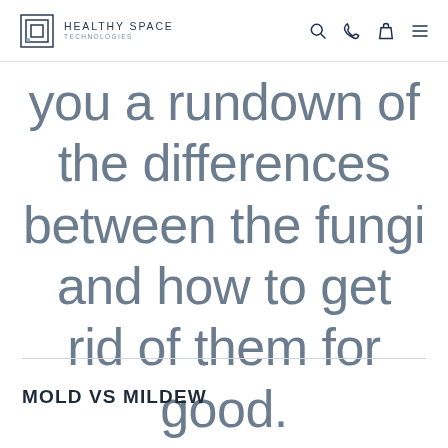HEALTHY SPACE TECHNOLOGIES
you a rundown of the differences between the fungi and how to get rid of them for good.
MOLD VS MILDEW